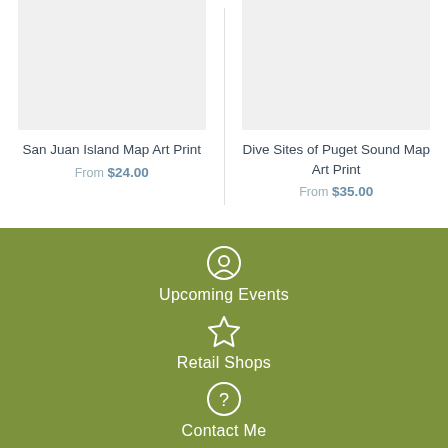[Figure (illustration): Gray placeholder image for San Juan Island Map Art Print product]
San Juan Island Map Art Print
From $24.00
[Figure (illustration): Gray placeholder image for Dive Sites of Puget Sound Map Art Print product]
Dive Sites of Puget Sound Map Art Print
From $35.00
Upcoming Events
Retail Shops
Contact Me